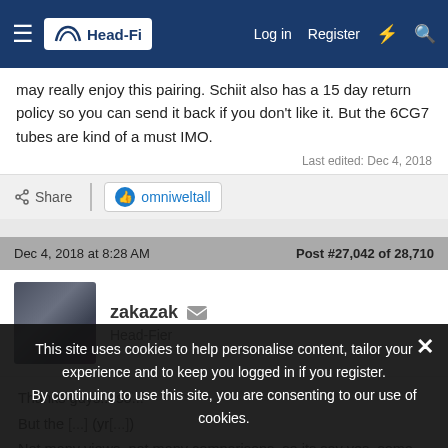Head-Fi — Log in  Register
may really enjoy this pairing. Schiit also has a 15 day return policy so you can send it back if you don't like it. But the 6CG7 tubes are kind of a must IMO.
Last edited: Dec 4, 2018
Share  omniweltall
Dec 4, 2018 at 8:28 AM    Post #27,042 of 28,710
zakazak  Head-Fier
Thanks guys... so...
But the [?] (yr[?]) Not many views, not many comparisons, so its say yes, some say no.
This site uses cookies to help personalise content, tailor your experience and to keep you logged in if you register. By continuing to use this site, you are consenting to our use of cookies.